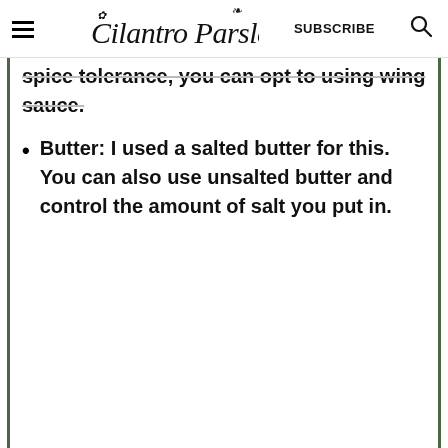Cilantro Parsley | SUBSCRIBE
spice tolerance, you can opt to using wing sauce.
Butter: I used a salted butter for this. You can also use unsalted butter and control the amount of salt you put in.
Prep Time: 0 minutes  Cook Time: 10 minutes  Category: Appetizer  Method: Cooking  Cuisine: American